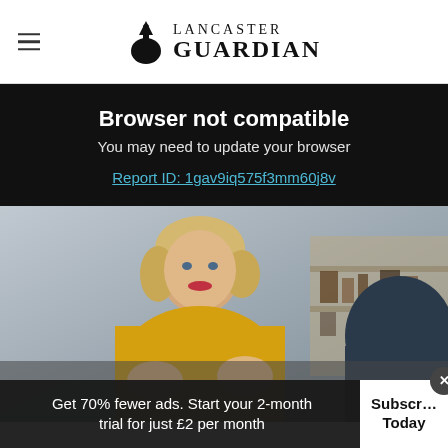Lancaster Guardian
Browser not compatible
You may need to update your browser
Report ID: 1gav9iq575f3mm60j8v
[Figure (photo): A blonde woman in a yellow sweater talking to someone, seated in a room with shelving in the background]
Get 70% fewer ads. Start your 2-month trial for just £2 per month